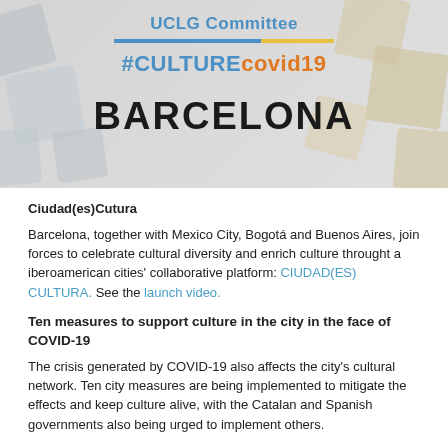[Figure (illustration): Header banner with geometric square shapes in grey and beige tones. Contains text: 'UCLG Committee' in blue, a blue and yellow horizontal divider line, '#CULTUREcovid19' in blue and orange gradient text, and 'BARCELONA' in large bold black text.]
Ciudad(es)Cutura
Barcelona, together with Mexico City, Bogotá and Buenos Aires, join forces to celebrate cultural diversity and enrich culture throught a iberoamerican cities' collaborative platform: CIUDAD(ES) CULTURA. See the launch video.
Ten measures to support culture in the city in the face of COVID-19
The crisis generated by COVID-19 also affects the city's cultural network. Ten city measures are being implemented to mitigate the effects and keep culture alive, with the Catalan and Spanish governments also being urged to implement others.
The measures are intended to give an opportunity to arts companies,